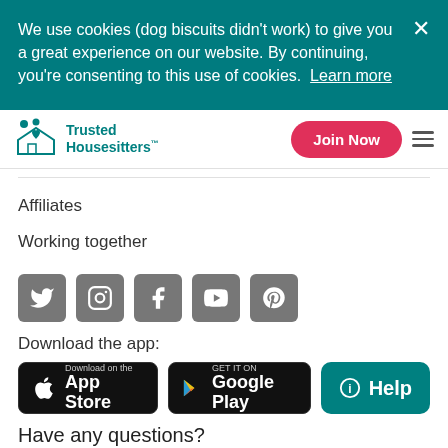We use cookies (dog biscuits didn't work) to give you a great experience on our website. By continuing, you're consenting to this use of cookies. Learn more
[Figure (logo): Trusted Housesitters logo with teal icon and text]
Join Now
Affiliates
Working together
[Figure (illustration): Social media icons row: Twitter, Instagram, Facebook, YouTube, Pinterest]
Download the app:
[Figure (illustration): App Store download button]
[Figure (illustration): Google Play download button]
[Figure (illustration): Help button in teal]
Have any questions?